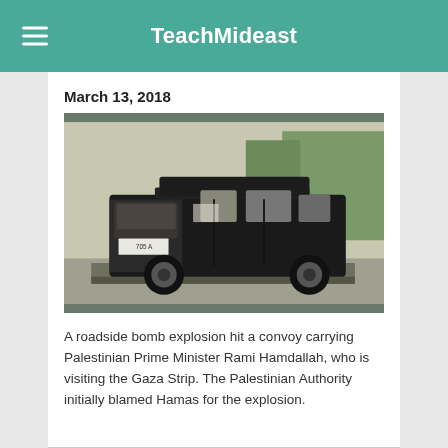TeachMideast
March 13, 2018
[Figure (photo): A damaged black SUV (Land Rover) with blown-out windows and a destroyed rear hatch, being transported on a flatbed, with trees visible in the background.]
A roadside bomb explosion hit a convoy carrying Palestinian Prime Minister Rami Hamdallah, who is visiting the Gaza Strip. The Palestinian Authority initially blamed Hamas for the explosion.